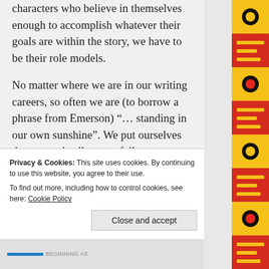characters who believe in themselves enough to accomplish whatever their goals are within the story, we have to be their role models.
No matter where we are in our writing careers, so often we are (to borrow a phrase from Emerson) “… standing in our own sunshine”. We put ourselves down, we dwell on our failures, we downplay our accomplishments. I suppose there are writers out there who have loads of confidence and think everything they create is brilliant, but we must not hang in the same circles. The things
Privacy & Cookies: This site uses cookies. By continuing to use this website, you agree to their use.
To find out more, including how to control cookies, see here: Cookie Policy